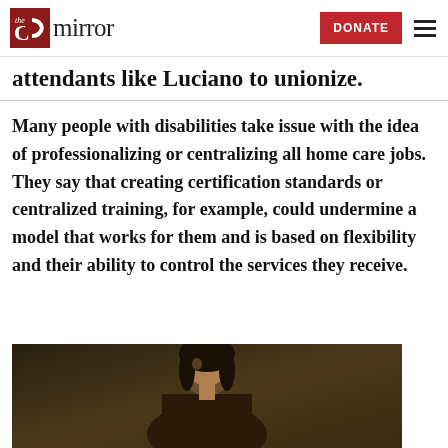the CT mirror — DONATE
attendants like Luciano to unionize.
Many people with disabilities take issue with the idea of professionalizing or centralizing all home care jobs. They say that creating certification standards or centralized training, for example, could undermine a model that works for them and is based on flexibility and their ability to control the services they receive.
[Figure (photo): Portrait photo of a woman, cropped, dark background]